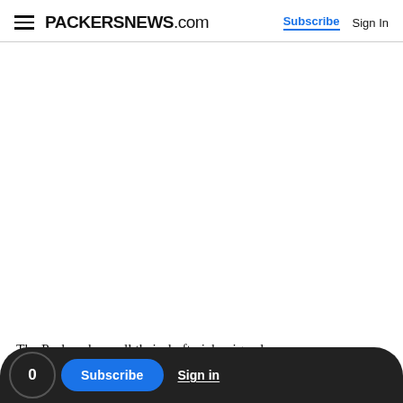PACKERSNEWS.com | Subscribe | Sign In
[Figure (other): Large blank white advertisement area]
The Packers have all their draft picks signed:
0 | Subscribe | Sign in